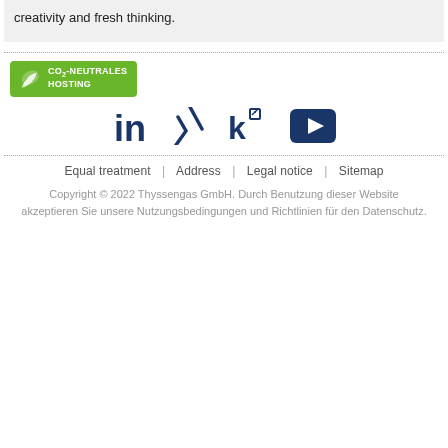creativity and fresh thinking.
[Figure (logo): CO2-Neutrales Hosting badge with green leaf icon]
[Figure (logo): Social media icons: LinkedIn, Xing, Kununu, YouTube]
Equal treatment | Address | Legal notice | Sitemap
Copyright © 2022 Thyssengas GmbH. Durch Benutzung dieser Website akzeptieren Sie unsere Nutzungsbedingungen und Richtlinien für den Datenschutz.